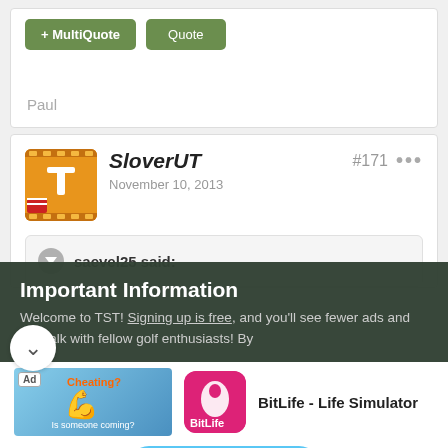[Figure (screenshot): Forum post action buttons: + MultiQuote and Quote]
Paul
[Figure (screenshot): Forum post by SloverUT, November 10, 2013, post #171, with avatar showing orange T logo]
saevel25 said:
Important Information
Welcome to TST! Signing up is free, and you'll see fewer ads and can talk with fellow golf enthusiasts! By
[Figure (screenshot): Ad for BitLife - Life Simulator showing cheating-themed image and BitLife logo with INSTALL! button]